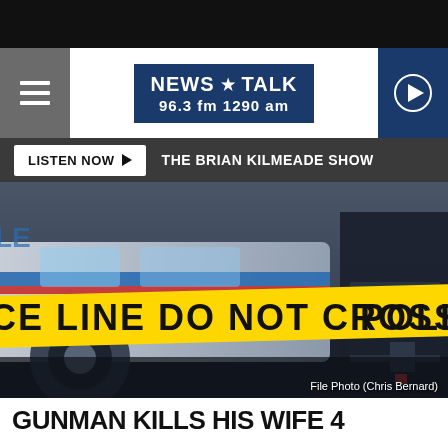[Figure (logo): NEWS TALK 96.3 fm 1290 am radio station logo in dark blue box]
LISTEN NOW ►   THE BRIAN KILMEADE SHOW
[Figure (photo): Police crime scene tape reading 'CE LINE DO NOT CROSS POLICE' in yellow and black, with police car and officer in background. File Photo (Chris Bernard)]
GUNMAN KILLS HIS WIFE 4